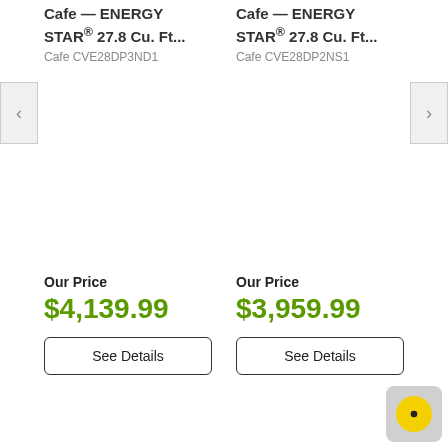Cafe — ENERGY STAR® 27.8 Cu. Ft...
Cafe CVE28DP3ND1
Cafe — ENERGY STAR® 27.8 Cu. Ft...
Cafe CVE28DP2NS1
Our Price
$4,139.99
See Details
Our Price
$3,959.99
See Details